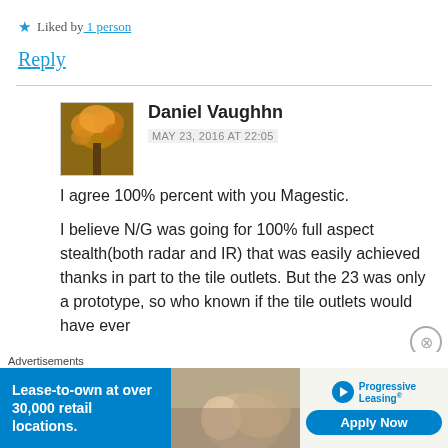★ Liked by 1 person
Reply
Daniel Vaughn
MAY 23, 2016 AT 22:05
I agree 100% percent with you Magestic.

I believe N/G was going for 100% full aspect stealth(both radar and IR) that was easily achieved thanks in part to the tile outlets. But the 23 was only a prototype, so who known if the tile outlets would have ever
[Figure (screenshot): Advertisement banner: Progressive Leasing - Lease-to-own at over 30,000 retail locations. Apply Now.]